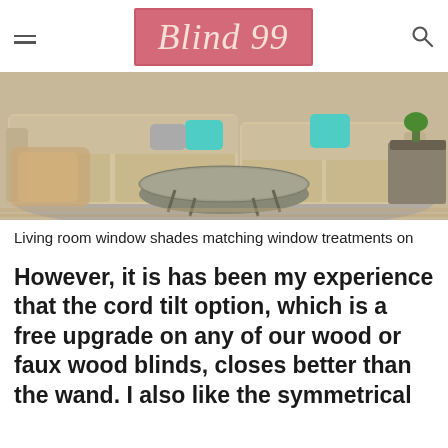Blind 99
[Figure (photo): Living room with a beige sectional sofa, decorative teal and grey pillows, a round glass coffee table with metal legs, and a light wood floor with a grey area rug.]
Living room window shades matching window treatments on
However, it is has been my experience that the cord tilt option, which is a free upgrade on any of our wood or faux wood blinds, closes better than the wand. I also like the symmetrical